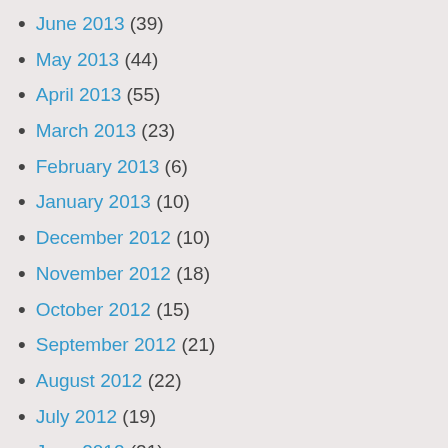June 2013 (39)
May 2013 (44)
April 2013 (55)
March 2013 (23)
February 2013 (6)
January 2013 (10)
December 2012 (10)
November 2012 (18)
October 2012 (15)
September 2012 (21)
August 2012 (22)
July 2012 (19)
June 2012 (21)
May 2012 (26)
April 2012 (29)
March 2012 (31)